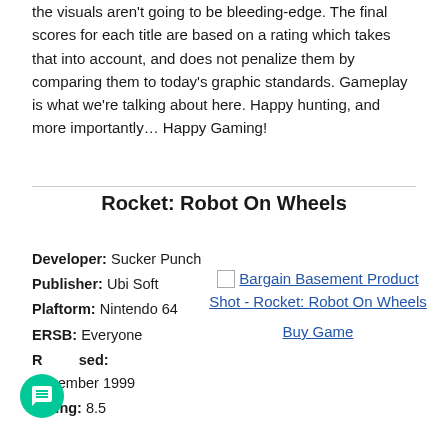the visuals aren't going to be bleeding-edge. The final scores for each title are based on a rating which takes that into account, and does not penalize them by comparing them to today's graphic standards. Gameplay is what we're talking about here. Happy hunting, and more importantly… Happy Gaming!
Rocket: Robot On Wheels
Developer: Sucker Punch
Publisher: Ubi Soft
Plaftorm: Nintendo 64
ERSB: Everyone
Released: November 1999
Rating: 8.5
[Figure (other): Bargain Basement Product Shot - Rocket: Robot On Wheels image placeholder with link and Buy Game link below]